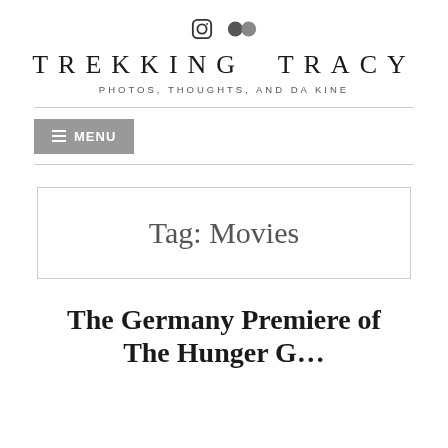[Figure (logo): Instagram icon (square with rounded corners, camera outline) and Flickr icon (two overlapping circles)]
TREKKING TRACY
PHOTOS, THOUGHTS, AND DA KINE
☰ MENU
Tag: Movies
The Germany Premiere of The Hunger G...